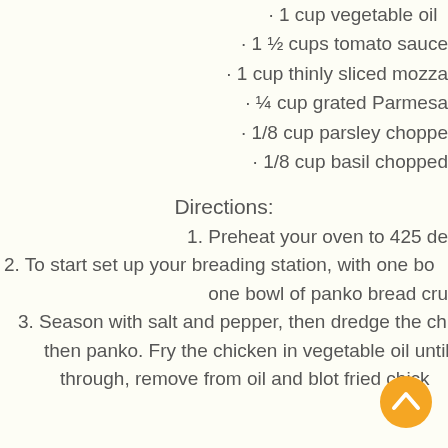· 1 cup vegetable oil
· 1 ½ cups tomato sauce
· 1 cup thinly sliced mozza
· ¼ cup grated Parmesa
· 1/8 cup parsley choppe
· 1/8 cup basil chopped
Directions:
1. Preheat your oven to 425 de
2. To start set up your breading station, with one bo
one bowl of panko bread cru
3. Season with salt and pepper, then dredge the ch
then panko. Fry the chicken in vegetable oil until
through, remove from oil and blot fried chick